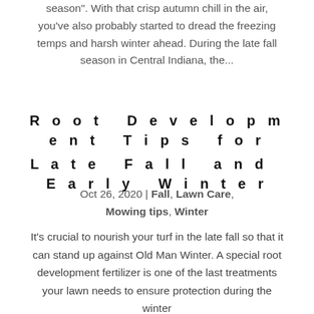season". With that crisp autumn chill in the air, you've also probably started to dread the freezing temps and harsh winter ahead. During the late fall season in Central Indiana, the...
Root Development Tips for Late Fall and Early Winter
Oct 26, 2020 | Fall, Lawn Care, Mowing tips, Winter
It's crucial to nourish your turf in the late fall so that it can stand up against Old Man Winter. A special root development fertilizer is one of the last treatments your lawn needs to ensure protection during the winter